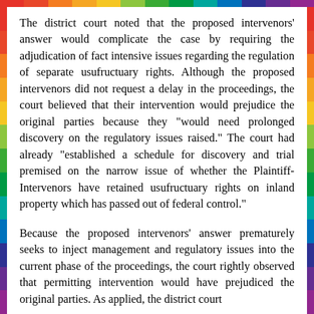The district court noted that the proposed intervenors' answer would complicate the case by requiring the adjudication of fact intensive issues regarding the regulation of separate usufructuary rights. Although the proposed intervenors did not request a delay in the proceedings, the court believed that their intervention would prejudice the original parties because they "would need prolonged discovery on the regulatory issues raised." The court had already "established a schedule for discovery and trial premised on the narrow issue of whether the Plaintiff-Intervenors have retained usufructuary rights on inland property which has passed out of federal control."
Because the proposed intervenors' answer prematurely seeks to inject management and regulatory issues into the current phase of the proceedings, the court rightly observed that permitting intervention would have prejudiced the original parties. As applied, the district court...